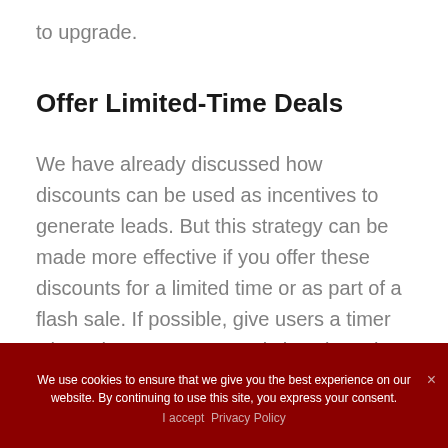to upgrade.
Offer Limited-Time Deals
We have already discussed how discounts can be used as incentives to generate leads. But this strategy can be made more effective if you offer these discounts for a limited time or as part of a flash sale. If possible, give users a timer where they can see exactly how long they have to sign up before the offer expires.
We use cookies to ensure that we give you the best experience on our website. By continuing to use this site, you express your consent.
I accept  Privacy Policy